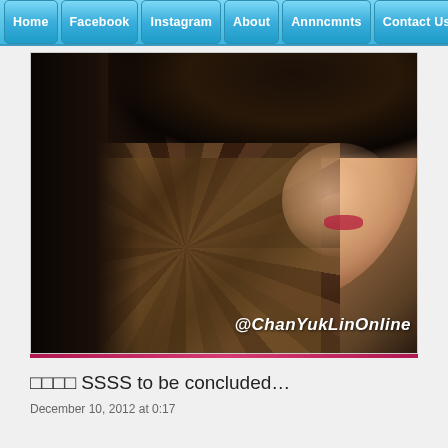Home | Facebook | Instagram | About | Annncmnts | Contact Us | Help
[Figure (photo): Portrait photo of a woman in a patterned dress, smiling, with watermark text @ChanYukLinOnline in white italic letters at the bottom right]
□□□□ SSSS to be concluded…
December 10, 2012 at 0:17